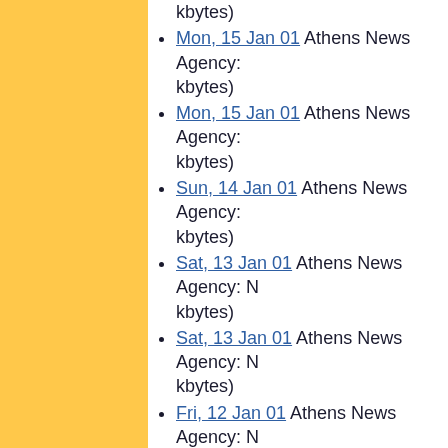kbytes)
Mon, 15 Jan 01 Athens News Agency: ... kbytes)
Mon, 15 Jan 01 Athens News Agency: ... kbytes)
Sun, 14 Jan 01 Athens News Agency: ... kbytes)
Sat, 13 Jan 01 Athens News Agency: N... kbytes)
Sat, 13 Jan 01 Athens News Agency: N... kbytes)
Fri, 12 Jan 01 Athens News Agency: N... kbytes)
Fri, 12 Jan 01 Athens News Agency: N... kbytes)
Thu, 11 Jan 01 Athens News Agency: ... kbytes)
Thu, 11 Jan 01 Athens News Agency: ... kbytes)
Wed, 10 Jan 01 Athens News Agency: ... kbytes)
Wed, 10 Jan 01 Athens News Agency: ... kbytes)
Tue, 9 Jan 01 Athens News Agency: N... kbytes)
Tue, 9 Jan 01 Athens News Agency: ...